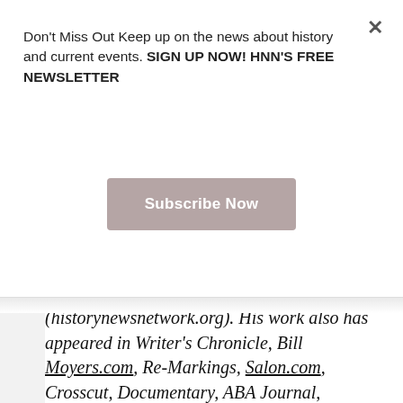Don't Miss Out Keep up on the news about history and current events. SIGN UP NOW! HNN'S FREE NEWSLETTER
Subscribe Now
(historynewsnetwork.org). His work also has appeared in Writer's Chronicle, Bill Moyers.com, Re-Markings, Salon.com, Crosscut, Documentary, ABA Journal, Huffington Post, and more. Most of his legal work has been in public service. He served as a staff attorney with the US House of Representatives Select Committee on Assassinations and investigated the death of Dr. Martin Luther King, Jr. His writing often